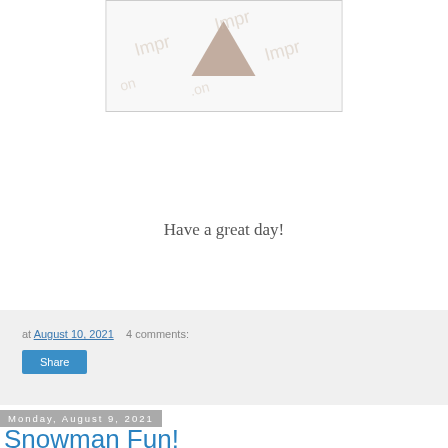[Figure (illustration): Watermarked image with a triangular/arrow shape and repeated watermark text overlay]
Have a great day!
at August 10, 2021   4 comments:
Share
Monday, August 9, 2021
Snowman Fun!
Happy Monday!